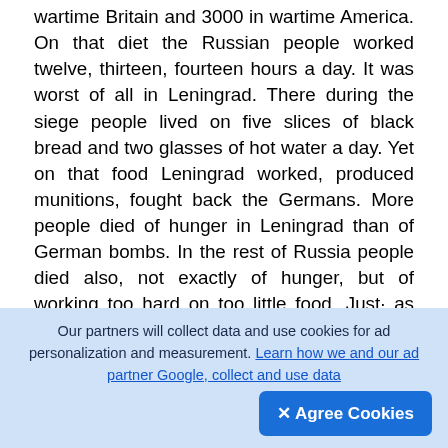wartime Britain and 3000 in wartime America. On that diet the Russian people worked twelve, thirteen, fourteen hours a day. It was worst of all in Leningrad. There during the siege people lived on five slices of black bread and two glasses of hot water a day. Yet on that food Leningrad worked, produced munitions, fought back the Germans. More people died of hunger in Leningrad than of German bombs. In the rest of Russia people died also, not exactly of hunger, but of working too hard on too little food. Just· as the Red Army was driven back by the German onslaught so the R… people were driven back in the war with h… And just as the Red Army kept its fighting organization unbroken until it was able to turn the tide…
[Figure (other): A dark rounded square button with a circle-arrow (upload/navigate) icon in white]
Our partners will collect data and use cookies for ad personalization and measurement. Learn how we and our ad partner Google, collect and use data
✕ Agree Cookies